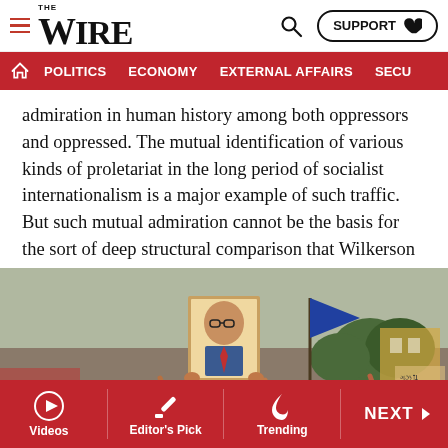THE WIRE — POLITICS | ECONOMY | EXTERNAL AFFAIRS | SECU...
admiration in human history among both oppressors and oppressed. The mutual identification of various kinds of proletariat in the long period of socialist internationalism is a major example of such traffic. But such mutual admiration cannot be the basis for the sort of deep structural comparison that Wilkerson is keen to make.
[Figure (photo): A crowd of people gathered at a rally, with someone holding up a large portrait of B.R. Ambedkar. A blue flag is visible in the background along with trees and buildings.]
Videos | Editor's Pick | Trending | NEXT >